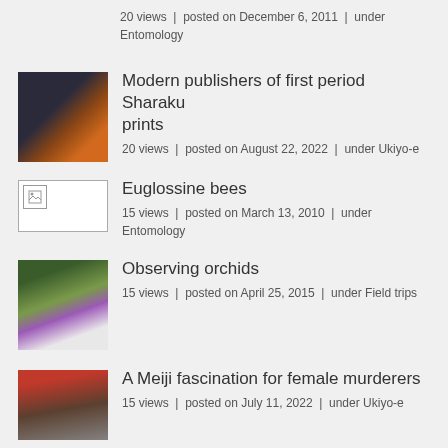20 views | posted on December 6, 2011 | under Entomology
[Figure (illustration): Thumbnail of a Japanese Ukiyo-e portrait print (Sharaku style)]
Modern publishers of first period Sharaku prints
20 views | posted on August 22, 2022 | under Ukiyo-e
[Figure (illustration): Broken image placeholder thumbnail]
Euglossine bees
15 views | posted on March 13, 2010 | under Entomology
[Figure (photo): Thumbnail photo of purple and white orchid flowers]
Observing orchids
15 views | posted on April 25, 2015 | under Field trips
[Figure (photo): Thumbnail photo of a Meiji-era building or scene]
A Meiji fascination for female murderers
15 views | posted on July 11, 2022 | under Ukiyo-e